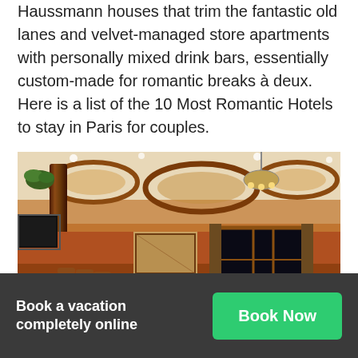Haussmann houses that trim the fantastic old lanes and velvet-managed store apartments with personally mixed drink bars, essentially custom-made for romantic breaks à deux. Here is a list of the 10 Most Romantic Hotels to stay in Paris for couples.
[Figure (photo): Interior of a luxurious hotel room or lounge with warm orange/terracotta walls, ornate oval ceiling features with wooden trim, recessed lighting, a chandelier, dark wood columns, a sofa seating area, pool/billiard table, bar area with stools, and large windows in background.]
Book a vacation completely online